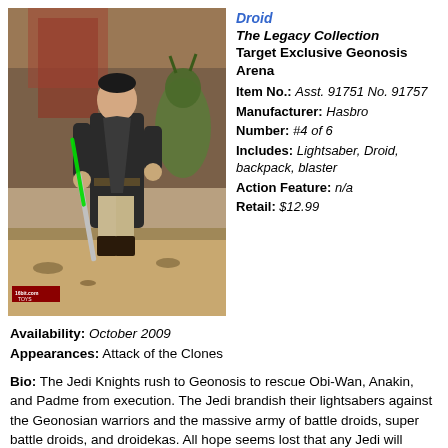[Figure (photo): Star Wars action figure of a Jedi in a dark robe holding a green lightsaber, posed on a arena diorama base with a creature in the background]
Droid
The Legacy Collection
Target Exclusive Geonosis Arena
Item No.: Asst. 91751 No. 91757
Manufacturer: Hasbro
Number: #4 of 6
Includes: Lightsaber, Droid, backpack, blaster
Action Feature: n/a
Retail: $12.99
Availability: October 2009
Appearances: Attack of the Clones
Bio: The Jedi Knights rush to Geonosis to rescue Obi-Wan, Anakin, and Padme from execution. The Jedi brandish their lightsabers against the Geonosian warriors and the massive army of battle droids, super battle droids, and droidekas. All hope seems lost that any Jedi will survive this battle, then Yoda arrives with an army of clone troopers. Although many Jedi are lost that day, others survive this climactic battle that